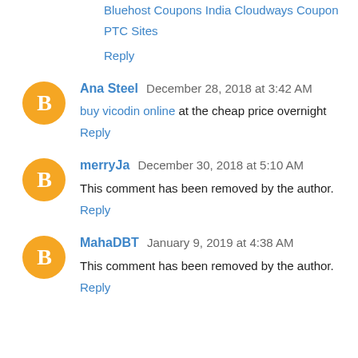Bluehost Coupons India
Cloudways Coupon
PTC Sites
Reply
Ana Steel  December 28, 2018 at 3:42 AM
buy vicodin online at the cheap price overnight
Reply
merryJa  December 30, 2018 at 5:10 AM
This comment has been removed by the author.
Reply
MahaDBT  January 9, 2019 at 4:38 AM
This comment has been removed by the author.
Reply